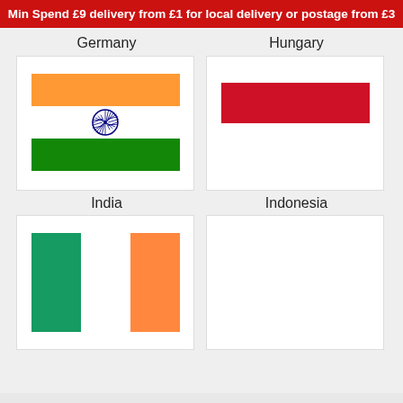Min Spend £9 delivery from £1 for local delivery or postage from £3
Germany
Hungary
[Figure (illustration): Flag of India: horizontal tricolor with saffron/orange on top, white in middle with navy Ashoka Chakra wheel, green on bottom]
[Figure (illustration): Flag of Indonesia: horizontal bicolor with red on top half, white on bottom half (partially shown)]
India
Indonesia
[Figure (illustration): Flag of Ireland: vertical tricolor with green on left, white in middle, orange on right]
[Figure (illustration): Empty or partially visible flag card]